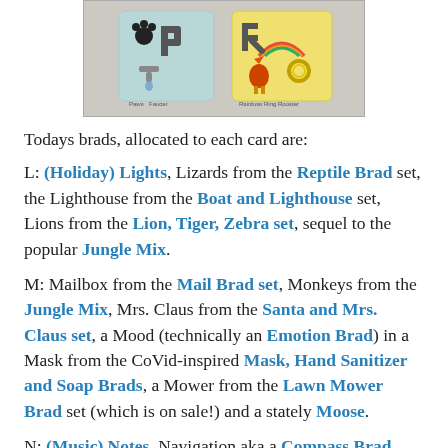[Figure (photo): Photo of alphabet letter cards with small decorative brads/charms attached, showing letters P and R on colorful cards.]
Todays brads, allocated to each card are:
L: (Holiday) Lights, Lizards from the Reptile Brad set, the Lighthouse from the Boat and Lighthouse set, Lions from the Lion, Tiger, Zebra set, sequel to the popular Jungle Mix.
M: Mailbox from the Mail Brad set, Monkeys from the Jungle Mix, Mrs. Claus from the Santa and Mrs. Claus set, a Mood (technically an Emotion Brad) in a Mask from the CoVid-inspired Mask, Hand Sanitizer and Soap Brads, a Mower from the Lawn Mower Brad set (which is on sale!) and a stately Moose.
N: (Music) Notes, Navigation aka a Compass Brad, Navy (technically a Sailboat from the Boat and Lighthouse set with an Anchor Brad), a stack of Novels which we actually